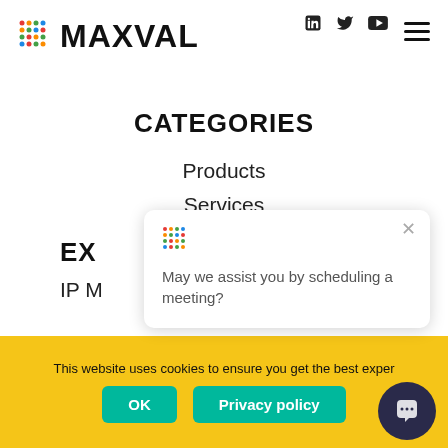MAXVAL
CATEGORIES
Products
Services
EXPERTISE
IP M...
Renewals
May we assist you by scheduling a meeting?
This website uses cookies to ensure you get the best exper... OK  Privacy policy